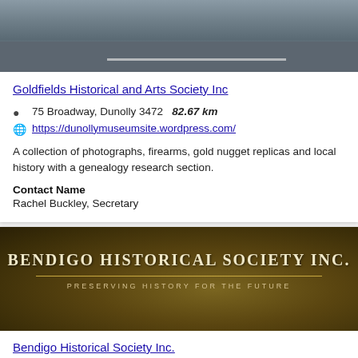[Figure (photo): Street-level photograph showing a road/street with grey asphalt, building in background]
Goldfields Historical and Arts Society Inc
75 Broadway, Dunolly 3472   82.67 km
https://dunollymuseumsite.wordpress.com/
A collection of photographs, firearms, gold nugget replicas and local history with a genealogy research section.
Contact Name
Rachel Buckley, Secretary
[Figure (photo): Bendigo Historical Society Inc banner image with dark golden/olive background and organization name and tagline 'Preserving History for the Future']
Bendigo Historical Society Inc.